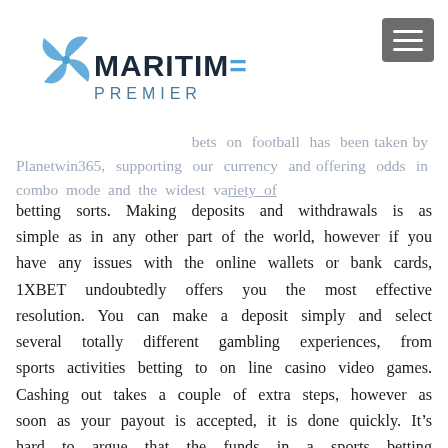racebook and casino. Bonuses are additionally a staple within the online sports betting neighborhood and you'll make sure to find a number of at Xbet.
[Figure (logo): Maritime Premier logo with blue star/compass icon and text MARITIME PREMIER]
bets on football has been taken by Planetwin365, supporting our currency and offering odds in combo mode and the widest variety of
betting sorts. Making deposits and withdrawals is as simple as in any other part of the world, however if you have any issues with the online wallets or bank cards, 1XBET undoubtedly offers you the most effective resolution. You can make a deposit simply and select several totally different gambling experiences, from sports activities betting to on line casino video games. Cashing out takes a couple of extra steps, however as soon as your payout is accepted, it is done quickly. It’s hard to argue that the funds in a sports betting account aren’t “out there to you.” You can proceed to